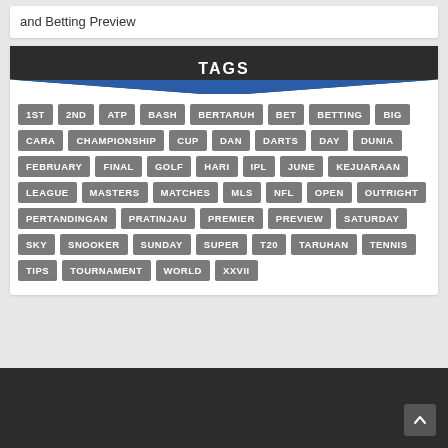and Betting Preview
[Figure (infographic): Tags cloud widget with dark header labeled TAGS and grey pill-shaped tag buttons listing sports and betting related keywords]
1ST, 2ND, ATP, BASH, BERTARUH, BET, BETTING, BIG, CARA, CHAMPIONSHIP, CUP, DAN, DARTS, DAY, DUNIA, FEBRUARY, FINAL, GOLF, HARI, IPL, JUNE, KEJUARAAN, LEAGUE, MASTERS, MATCHES, MLS, NFL, OPEN, OUTRIGHT, PERTANDINGAN, PRATINJAU, PREMIER, PREVIEW, SATURDAY, SKY, SNOOKER, SUNDAY, SUPER, T20, TARUHAN, TENNIS, TIPS, TOURNAMENT, WORLD, XXVII